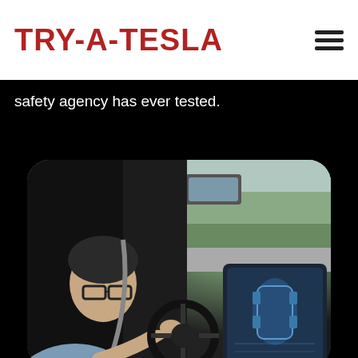TRY-A-TESLA
safety agency has ever tested.
[Figure (photo): Person driving a Tesla, viewed from inside the car. Driver wearing glasses and a blue shirt, holding the steering wheel with a smartwatch on wrist. The Tesla touchscreen display is visible on the right. View through windshield shows trees and road outside.]